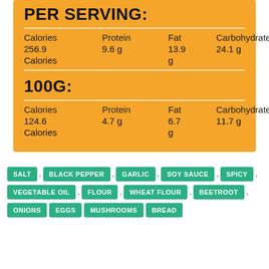PER SERVING:
| Calories | Protein | Fat | Carbohydrates |
| --- | --- | --- | --- |
| 256.9 Calories | 9.6 g | 13.9 g | 24.1 g |
100G:
| Calories | Protein | Fat | Carbohydrates |
| --- | --- | --- | --- |
| 124.6 Calories | 4.7 g | 6.7 g | 11.7 g |
SALT
BLACK PEPPER
GARLIC
SOY SAUCE
SPICY
VEGETABLE OIL
FLOUR
WHEAT FLOUR
BEETROOT
ONIONS
EGGS
MUSHROOMS
BREAD